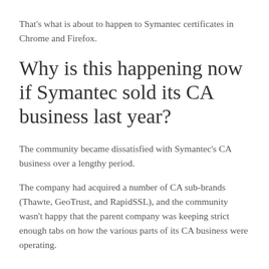That's what is about to happen to Symantec certificates in Chrome and Firefox.
Why is this happening now if Symantec sold its CA business last year?
The community became dissatisfied with Symantec's CA business over a lengthy period.
The company had acquired a number of CA sub-brands (Thawte, GeoTrust, and RapidSSL), and the community wasn't happy that the parent company was keeping strict enough tabs on how the various parts of its CA business were operating.